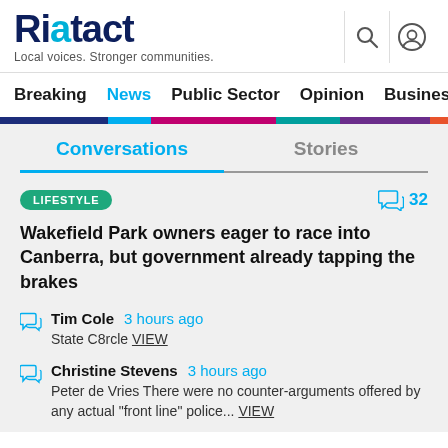Riotact — Local voices. Stronger communities.
Breaking  News  Public Sector  Opinion  Business
Conversations  Stories
LIFESTYLE  32
Wakefield Park owners eager to race into Canberra, but government already tapping the brakes
Tim Cole  3 hours ago
State C8rcle VIEW
Christine Stevens  3 hours ago
Peter de Vries There were no counter-arguments offered by any actual "front line" police... VIEW